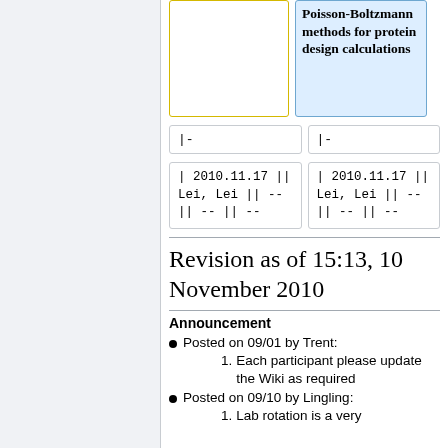Poisson-Boltzmann methods for protein design calculations
|-
|-
| 2010.11.17 || Lei, Lei || -- || -- || --
| 2010.11.17 || Lei, Lei || -- || -- || --
Revision as of 15:13, 10 November 2010
Announcement
Posted on 09/01 by Trent:
1. Each participant please update the Wiki as required
Posted on 09/10 by Lingling:
1. Lab rotation is a very